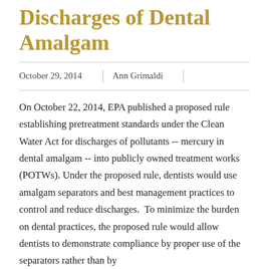Discharges of Dental Amalgam
October 29, 2014 | Ann Grimaldi
On October 22, 2014, EPA published a proposed rule establishing pretreatment standards under the Clean Water Act for discharges of pollutants -- mercury in dental amalgam -- into publicly owned treatment works (POTWs). Under the proposed rule, dentists would use amalgam separators and best management practices to control and reduce discharges.  To minimize the burden on dental practices, the proposed rule would allow dentists to demonstrate compliance by proper use of the separators rather than by